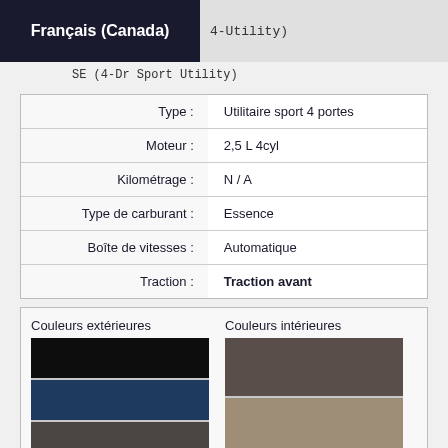Français (Canada)
SE (4-Dr Sport Utility)
| Type : | Utilitaire sport 4 portes |
| Moteur : | 2,5 L 4cyl |
| Kilométrage : | N / A |
| Type de carburant : | Essence |
| Boîte de vitesses : | Automatique |
| Traction : | Traction avant |
[Figure (infographic): Color swatches showing exterior colors (black, dark navy blue, dark grey/brown, steel blue) and interior colors (dark taupe/brown, light taupe/tan)]